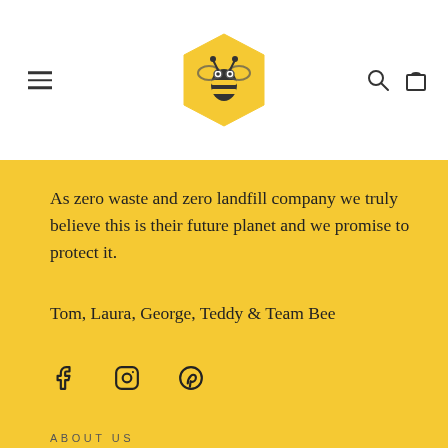[Figure (logo): Yellow hexagon logo with a bee icon inside, used as website header logo]
As zero waste and zero landfill company we truly believe this is their future planet and we promise to protect it.
Tom, Laura, George, Teddy & Team Bee
[Figure (other): Social media icons: Facebook, Instagram, Pinterest]
ABOUT US
Who Makes Your Clothes
Made In Britain ®